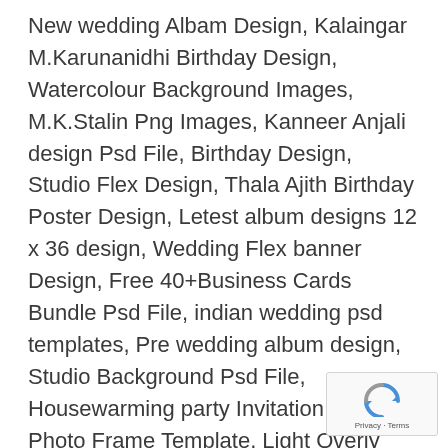New wedding Albam Design, Kalaingar M.Karunanidhi Birthday Design, Watercolour Background Images, M.K.Stalin Png Images, Kanneer Anjali design Psd File, Birthday Design, Studio Flex Design, Thala Ajith Birthday Poster Design, Letest album designs 12 x 36 design, Wedding Flex banner Design, Free 40+Business Cards Bundle Psd File, indian wedding psd templates, Pre wedding album design, Studio Background Psd File, Housewarming party Invitation, Collage Photo Frame Template, Light Overly Images, Marriage Kavithaigal, Wedding Flex Banner, Visiting Card Design Psd File, Caricature art Psd File, Wedding Flex, Marriage Flex Banner, Wedding Gift Photo Frame Design Free Download
[Figure (logo): Google reCAPTCHA badge with recycling-arrow logo icon and 'Privacy - Terms' text]